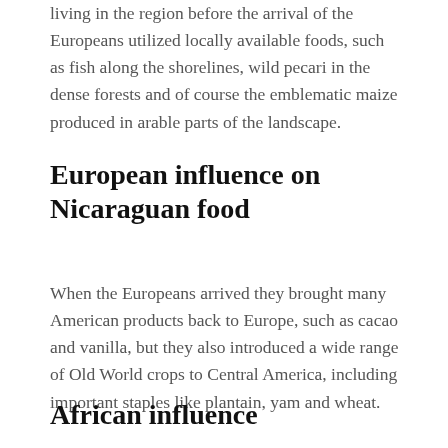living in the region before the arrival of the Europeans utilized locally available foods, such as fish along the shorelines, wild pecari in the dense forests and of course the emblematic maize produced in arable parts of the landscape.
European influence on Nicaraguan food
When the Europeans arrived they brought many American products back to Europe, such as cacao and vanilla, but they also introduced a wide range of Old World crops to Central America, including important staples like plantain, yam and wheat.
African influence